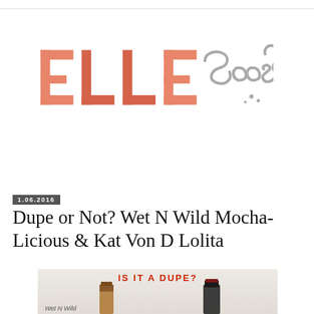[Figure (logo): Elle Sees blog logo with 'ELLE' in salmon/coral block letters and 'Sees' in grey cursive handwriting script]
1.06.2016
Dupe or Not? Wet N Wild Mocha-Licious & Kat Von D Lolita
[Figure (photo): Product comparison photo showing Wet N Wild and Kat Von D lipsticks with text 'IS IT A DUPE?' at top in red bold letters and 'Wet N Wild' label at bottom left]